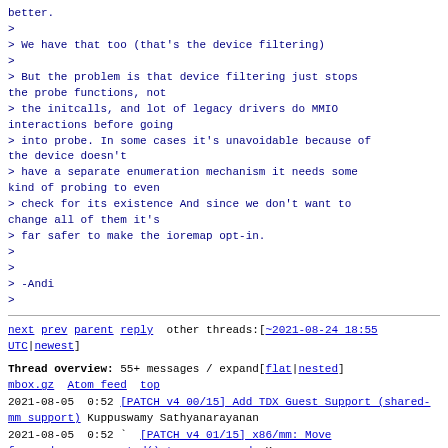better.
>
> We have that too (that's the device filtering)
>
> But the problem is that device filtering just stops the probe functions, not
> the initcalls, and lot of legacy drivers do MMIO interactions before going
> into probe. In some cases it's unavoidable because of the device doesn't
> have a separate enumeration mechanism it needs some kind of probing to even
> check for its existence And since we don't want to change all of them it's
> far safer to make the ioremap opt-in.
>
>
> -Andi
>
next prev parent reply other threads:[~2021-08-24 18:55 UTC|newest]
Thread overview: 55+ messages / expand[flat|nested]
mbox.gz  Atom feed  top
2021-08-05  0:52 [PATCH v4 00/15] Add TDX Guest Support (shared-mm support) Kuppuswamy Sathyanarayanan
2021-08-05  0:52 ` [PATCH v4 01/15] x86/mm: Move force_dma_unencrypted() to common code Kuppuswamy